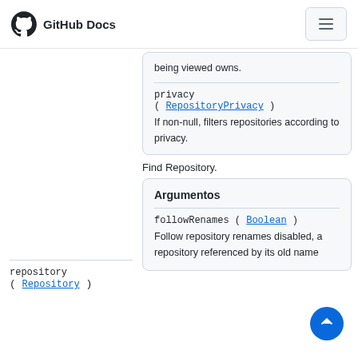GitHub Docs
being viewed owns.
privacy ( RepositoryPrivacy ) If non-null, filters repositories according to privacy.
repository ( Repository )
Find Repository.
Argumentos
followRenames ( Boolean ) Follow repository renames disabled, a repository referenced by its old name